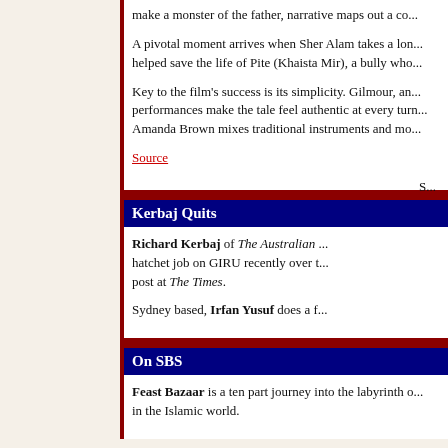make a monster of the father, narrative maps out a co...
A pivotal moment arrives when Sher Alam takes a lon... helped save the life of Pite (Khaista Mir), a bully who...
Key to the film's success is its simplicity. Gilmour, an... performances make the tale feel authentic at every turn... Amanda Brown mixes traditional instruments and mo...
Source
Kerbaj Quits
Richard Kerbaj of The Australian ... hatchet job on GIRU recently over t... post at The Times.
Sydney based, Irfan Yusuf does a f...
On SBS
Feast Bazaar is a ten part journey into the labyrinth o... in the Islamic world.